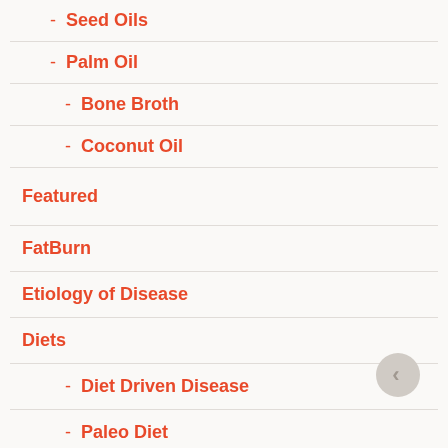- Seed Oils
- Palm Oil
- Bone Broth
- Coconut Oil
Featured
FatBurn
Etiology of Disease
Diets
- Diet Driven Disease
- Paleo Diet